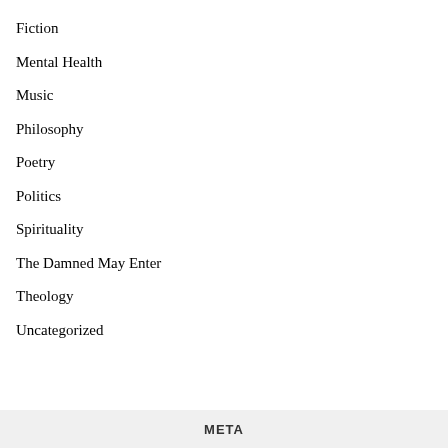Fiction
Mental Health
Music
Philosophy
Poetry
Politics
Spirituality
The Damned May Enter
Theology
Uncategorized
META